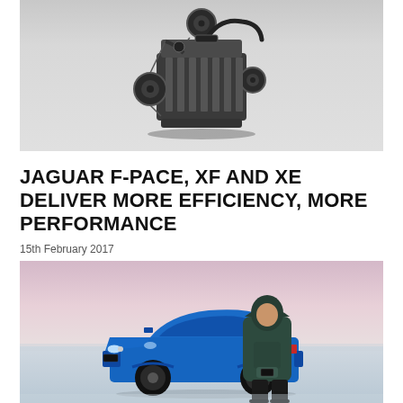[Figure (photo): A car engine (Jaguar diesel/petrol engine) photographed against a light grey background, showing the full engine block with components visible.]
JAGUAR F-PACE, XF AND XE DELIVER MORE EFFICIENCY, MORE PERFORMANCE
15th February 2017
[Figure (photo): A blue Jaguar F-Pace SUV parked on a snow-covered surface. A person wearing a dark green hooded puffer jacket stands in front of the car, looking down at something in their hands. The background is a flat snowy landscape with a pale pink/purple sky.]